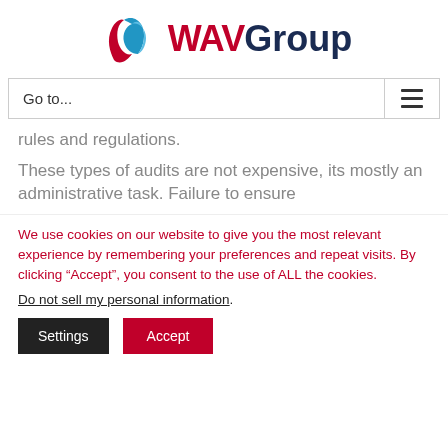[Figure (logo): WAV Group logo with stylized blue and red ribbon/wave mark and text 'WAV Group']
Go to...
rules and regulations.
These types of audits are not expensive, its mostly an administrative task. Failure to ensure
We use cookies on our website to give you the most relevant experience by remembering your preferences and repeat visits. By clicking “Accept”, you consent to the use of ALL the cookies.
Do not sell my personal information.
Settings
Accept